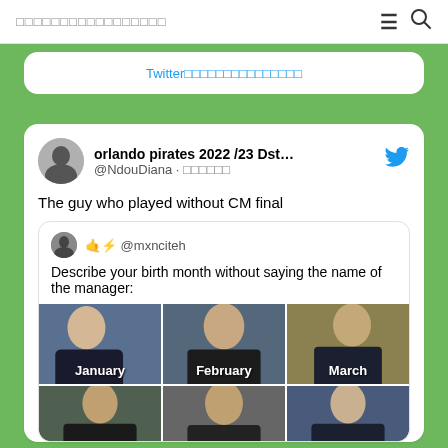□□□□□□□□□□□□□□□□□
Twitter□□□□□□□□□□□□□□□
[Figure (screenshot): Tweet from @NdouDiana about orlando pirates 2022/23 Dstv c... with reply quoting @mxnciteh asking to describe birth month without saying manager name, showing meme grid of football managers for January (Ancelotti), February (Ferguson), March (Ten Hag), and two partially visible below]